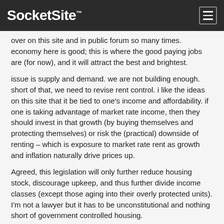SocketSite™
over on this site and in public forum so many times. economy here is good; this is where the good paying jobs are (for now), and it will attract the best and brightest.
issue is supply and demand. we are not building enough. short of that, we need to revise rent control. i like the ideas on this site that it be tied to one's income and affordability. if one is taking advantage of market rate income, then they should invest in that growth (by buying themselves and protecting themselves) or risk the (practical) downside of renting – which is exposure to market rate rent as growth and inflation naturally drive prices up.
Agreed, this legislation will only further reduce housing stock, discourage upkeep, and thus further divide income classes (except those aging into their overly protected units). I'm not a lawyer but it has to be unconstitutional and nothing short of government controlled housing.
Posted by soccermom 9 years ago
I don't understand this. Entrenched tenants won't be able to monetize the 'equity' they have built up through long term leases. Before they could have sold-out easier and received a tangible